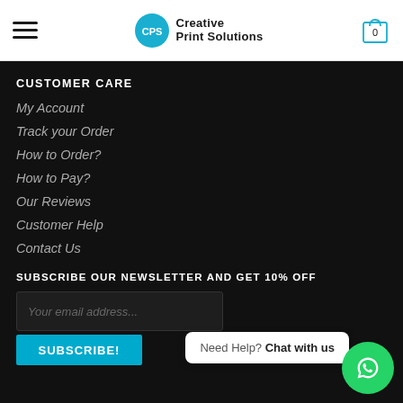[Figure (logo): Creative Print Solutions logo with CPS circle icon and text]
CUSTOMER CARE
My Account
Track your Order
How to Order?
How to Pay?
Our Reviews
Customer Help
Contact Us
SUBSCRIBE OUR NEWSLETTER AND GET 10% OFF
Your email address...
SUBSCRIBE!
Need Help? Chat with us